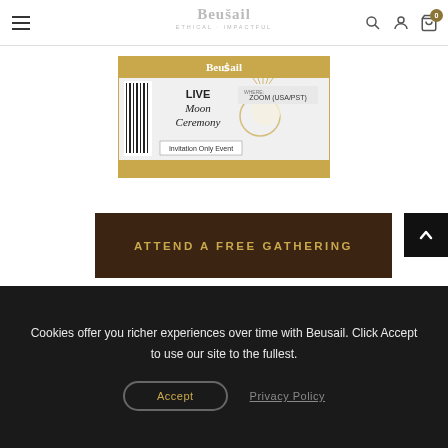Beusail ETHICAL · IMPACTFUL — navigation bar with hamburger menu, logo, search, account, and cart (0) icons
[Figure (illustration): A ticket graphic with gold border header reading 'Beusail', barcode on left, text 'LIVE Moon Ceremony', venue label 'ZOOM (USA/PST)', and 'Invitation Only Event' box]
ATTEND A FREE GATHERING
Cookies offer you richer experiences over time with Beusail. Click Accept to use our site to the fullest.
Accept
Privacy Policy